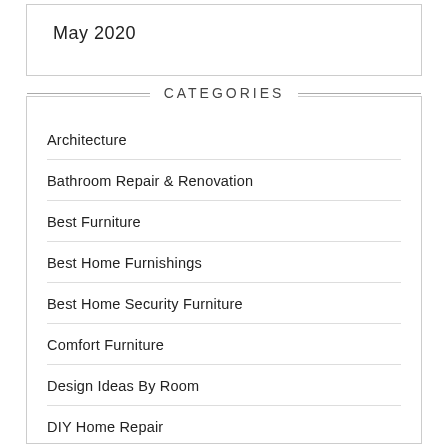May 2020
CATEGORIES
Architecture
Bathroom Repair & Renovation
Best Furniture
Best Home Furnishings
Best Home Security Furniture
Comfort Furniture
Design Ideas By Room
DIY Home Repair